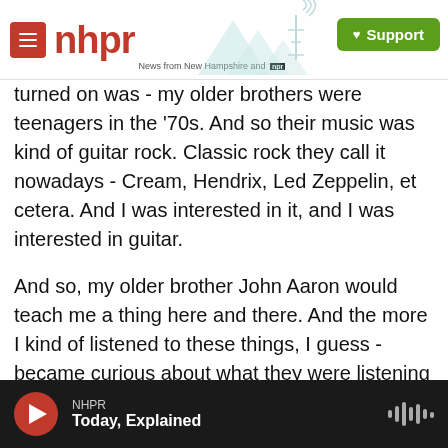[Figure (logo): NHPR (New Hampshire Public Radio) website header with red hamburger menu button, red NHPR logo text, tagline 'News from New Hampshire and NPR', teal mountain/antenna illustration, and green Support button]
turned on was - my older brothers were teenagers in the '70s. And so their music was kind of guitar rock. Classic rock they call it nowadays - Cream, Hendrix, Led Zeppelin, et cetera. And I was interested in it, and I was interested in guitar.
And so, my older brother John Aaron would teach me a thing here and there. And the more I kind of listened to these things, I guess - became curious about what they were listening to. I mean, I couldn't stop listening and reading 'cause it was so difficult to get music. I would have to call, you know, like, the mall in Fort Smith, Ark., and place an
NHPR
Today, Explained